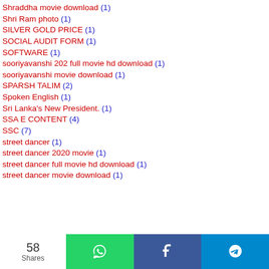Shraddha movie download (1)
Shri Ram photo (1)
SILVER GOLD PRICE (1)
SOCIAL AUDIT FORM (1)
SOFTWARE (1)
sooriyavanshi 202 full movie hd download (1)
sooriyavanshi movie download (1)
SPARSH TALIM (2)
Spoken English (1)
Sri Lanka's New President. (1)
SSA E CONTENT (4)
SSC (7)
street dancer (1)
street dancer 2020 movie (1)
street dancer full movie hd download (1)
street dancer movie download (1)
58 Shares